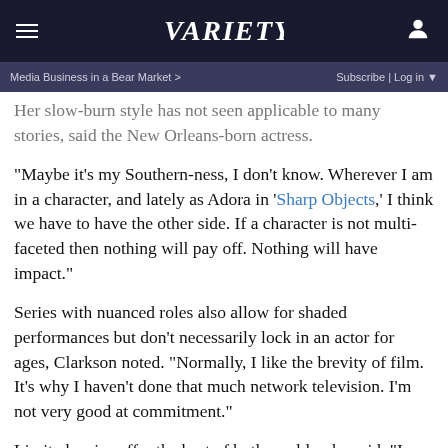VARIETY — Media Business in a Bear Market > | Subscribe | Log in
Her slow-burn style has not seen applicable to many stories, said the New Orleans-born actress.
“Maybe it’s my Southern-ness, I don’t know. Wherever I am in a character, and lately as Adora in ‘Sharp Objects,’ I think we have to have the other side. If a character is not multi-faceted then nothing will pay off. Nothing will have impact.”
Series with nuanced roles also allow for shaded performances but don’t necessarily lock in an actor for ages, Clarkson noted. “Normally, I like the brevity of film. It’s why I haven’t done that much network television. I’m not very good at commitment.”
Limited series offer the best of both worlds, she said. “I love the idea of having more breadth and more time but it’s still limited because it’s not endless, it’s not open-ended.”